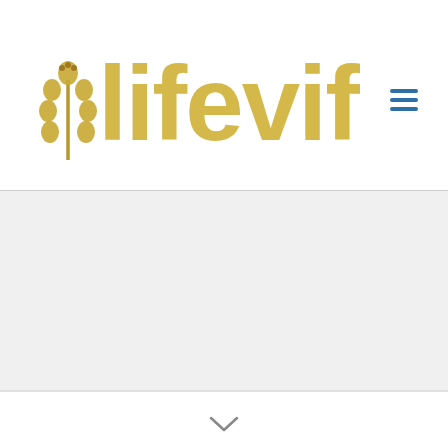[Figure (logo): Lifevif logo with wheat/grain icon in golden/yellow color and stylized text reading 'lifevif' in golden outlined font, with a hamburger menu icon in blue on the right side]
[Figure (other): Light gray content area below the header, appearing to be a web page layout with an empty banner or hero section]